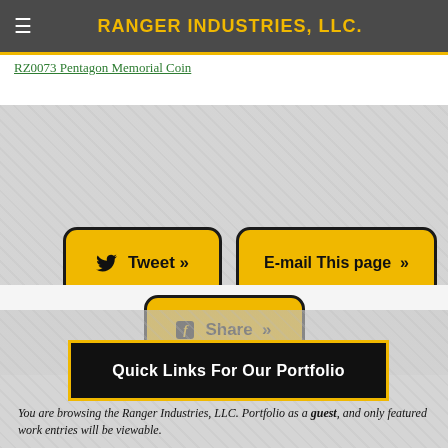RANGER INDUSTRIES, LLC.
RZ0073 Pentagon Memorial Coin
[Figure (screenshot): Social sharing buttons: Tweet, E-mail This page, and Share (Facebook) buttons with yellow background and black borders on grey textured background]
Quick Links For Our Portfolio
You are browsing the Ranger Industries, LLC. Portfolio as a guest, and only featured work entries will be viewable.